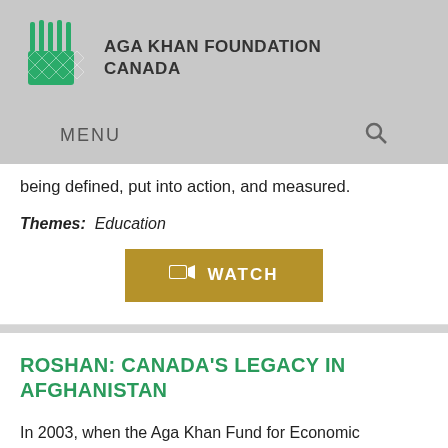[Figure (logo): Aga Khan Foundation Canada logo - green stylized plant/wheat symbol with text AGA KHAN FOUNDATION CANADA]
MENU  🔍
being defined, put into action, and measured.
Themes: Education
WATCH
ROSHAN: CANADA'S LEGACY IN AFGHANISTAN
In 2003, when the Aga Khan Fund for Economic Development established the Afghanistan